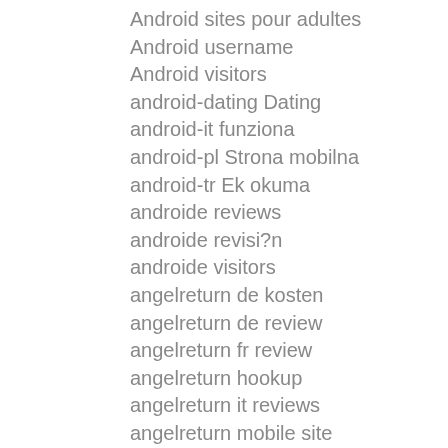Android sites pour adultes
Android username
Android visitors
android-dating Dating
android-it funziona
android-pl Strona mobilna
android-tr Ek okuma
androide reviews
androide revisi?n
androide visitors
angelreturn de kosten
angelreturn de review
angelreturn fr review
angelreturn hookup
angelreturn it reviews
angelreturn mobile site
angelreturn pl review
angelreturn pl reviews
angelreturn review